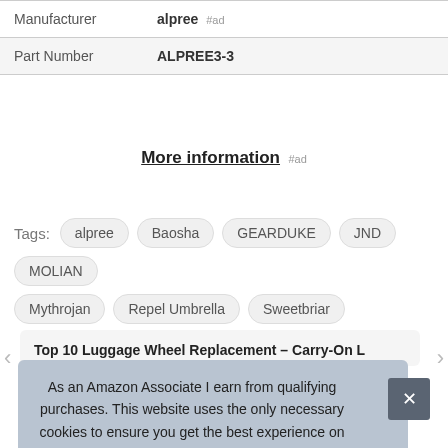| Manufacturer | alpree #ad |
| Part Number | ALPREE3-3 |
More information #ad
Tags: alpree Baosha GEARDUKE JND MOLIAN Mythrojan Repel Umbrella Sweetbriar
Top 10 Luggage Wheel Replacement – Carry-On L
As an Amazon Associate I earn from qualifying purchases. This website uses the only necessary cookies to ensure you get the best experience on our website. More information